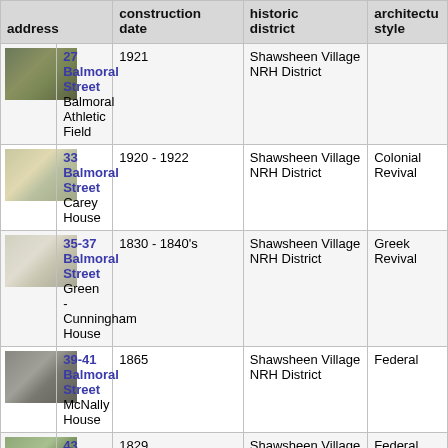| address |  | construction date | historic district | architectural style |
| --- | --- | --- | --- | --- |
| [img] | 27 Balmoral Street
Balmoral Athletic Field | 1921 | Shawsheen Village NRH District |  |
| [img] | 33 Balmoral Street
Carey House | 1920 - 1922 | Shawsheen Village NRH District | Colonial Revival |
| [img] | 35-37 Balmoral Street
Green - Cunningham House | 1830 - 1840's | Shawsheen Village NRH District | Greek Revival |
| [img] | 39-41 Balmoral Street
McNally House | 1865 | Shawsheen Village NRH District | Federal |
| [img] | 43 Balmoral Street | 1829 | Shawsheen Village | Federal |